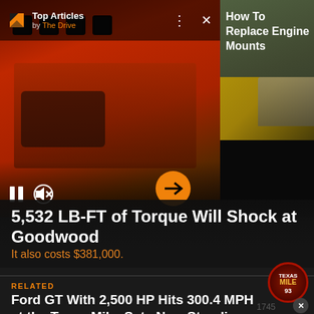[Figure (screenshot): App UI showing a video thumbnail of an orange engine block with playback controls (pause, mute), and a right panel showing 'How To Replace Engine Mounts' article thumbnail]
Top Articles by The Drive
How To Replace Engine Mounts
5,532 LB-FT of Torque Will Shock at Goodwood
It also costs $381,000.
RELATED
Ford GT With 2,500 HP Hits 300.4 MPH at the Texas Mile, Sets New Standing Mile Record